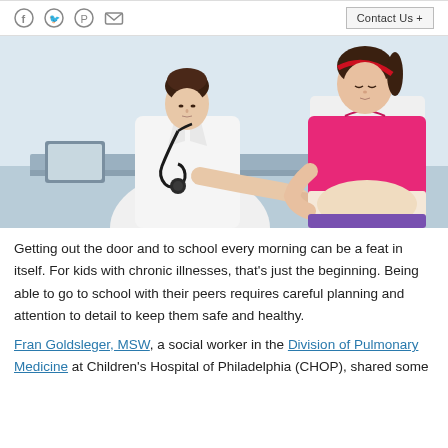[Social icons: Facebook, Twitter, Pinterest, Email] | Contact Us +
[Figure (photo): A female doctor in a white coat with stethoscope sits at a desk examining a young girl in a pink shirt who is lifting her shirt to show her abdomen.]
Getting out the door and to school every morning can be a feat in itself. For kids with chronic illnesses, that's just the beginning. Being able to go to school with their peers requires careful planning and attention to detail to keep them safe and healthy.
Fran Goldsleger, MSW, a social worker in the Division of Pulmonary Medicine at Children's Hospital of Philadelphia (CHOP), shared some